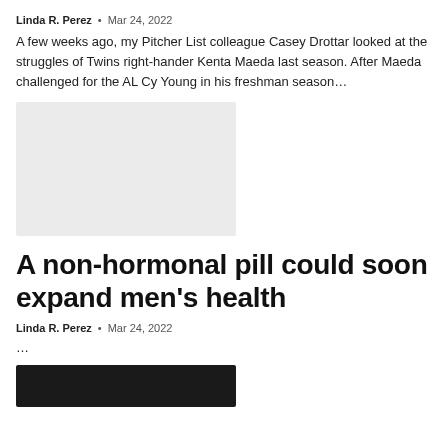Linda R. Perez • Mar 24, 2022
A few weeks ago, my Pitcher List colleague Casey Drottar looked at the struggles of Twins right-hander Kenta Maeda last season. After Maeda challenged for the AL Cy Young in his freshman season…
[Figure (photo): Light gray placeholder image rectangle]
A non-hormonal pill could soon expand men's health
Linda R. Perez • Mar 24, 2022
…
[Figure (photo): Dark/black placeholder image rectangle at bottom]